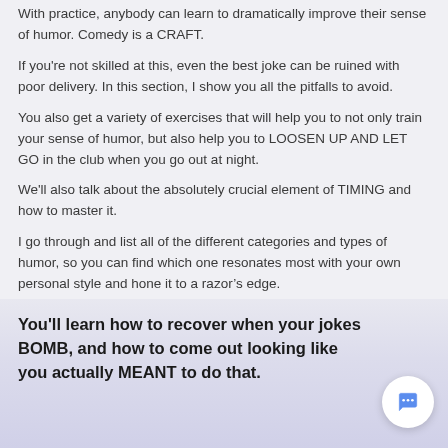With practice, anybody can learn to dramatically improve their sense of humor. Comedy is a CRAFT.
If you're not skilled at this, even the best joke can be ruined with poor delivery. In this section, I show you all the pitfalls to avoid.
You also get a variety of exercises that will help you to not only train your sense of humor, but also help you to LOOSEN UP AND LET GO in the club when you go out at night.
We'll also talk about the absolutely crucial element of TIMING and how to master it.
I go through and list all of the different categories and types of humor, so you can find which one resonates most with your own personal style and hone it to a razor's edge.
You'll learn how to recover when your jokes BOMB, and how to come out looking like you actually MEANT to do that.